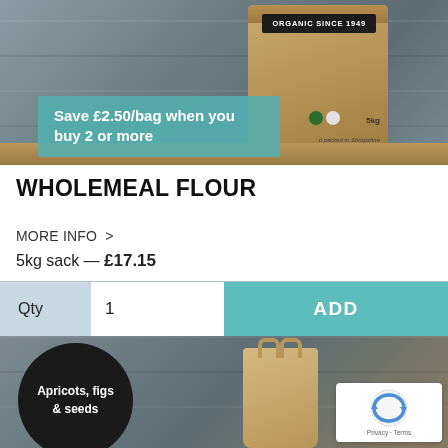[Figure (photo): Product photo of an organic wholemeal flour bag (5kg) made of kraft paper with 'ORGANIC SINCE 1949' label, on a wooden surface in Shropshire]
Save £2.50/bag when you buy 2 or more
WHOLEMEAL FLOUR
MORE INFO  >
5kg sack — £17.15
Qty  1  ADD
[Figure (photo): Bottom product image showing a dark circular badge with text 'Apricots, figs & seeds' and a kraft paper bag in the background on wooden surface, with reCAPTCHA badge in the corner]